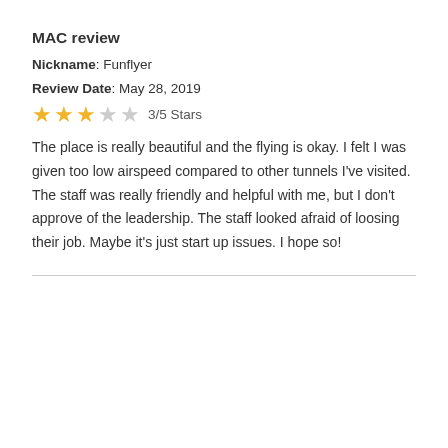MAC review
Nickname: Funflyer
Review Date: May 28, 2019
3/5 Stars
The place is really beautiful and the flying is okay. I felt I was given too low airspeed compared to other tunnels I've visited. The staff was really friendly and helpful with me, but I don't approve of the leadership. The staff looked afraid of loosing their job. Maybe it's just start up issues. I hope so!